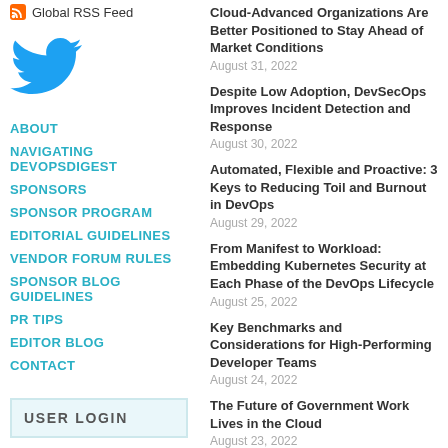Global RSS Feed
[Figure (logo): Twitter bird logo in blue]
ABOUT
NAVIGATING DEVOPSDIGEST
SPONSORS
SPONSOR PROGRAM
EDITORIAL GUIDELINES
VENDOR FORUM RULES
SPONSOR BLOG GUIDELINES
PR TIPS
EDITOR BLOG
CONTACT
USER LOGIN
Cloud-Advanced Organizations Are Better Positioned to Stay Ahead of Market Conditions
August 31, 2022
Despite Low Adoption, DevSecOps Improves Incident Detection and Response
August 30, 2022
Automated, Flexible and Proactive: 3 Keys to Reducing Toil and Burnout in DevOps
August 29, 2022
From Manifest to Workload: Embedding Kubernetes Security at Each Phase of the DevOps Lifecycle
August 25, 2022
Key Benchmarks and Considerations for High-Performing Developer Teams
August 24, 2022
The Future of Government Work Lives in the Cloud
August 23, 2022
How Developer Teams Can Succeed...